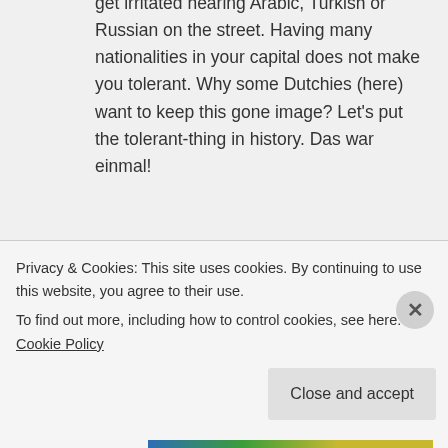get irritated hearing Arabic, Turkish or Russian on the street. Having many nationalities in your capital does not make you tolerant. Why some Dutchies (here) want to keep this gone image? Let's put the tolerant-thing in history. Das war einmal!
Reply
Maiq on October 17, 2014 at 7:48 pm
Privacy & Cookies: This site uses cookies. By continuing to use this website, you agree to their use.
To find out more, including how to control cookies, see here: Cookie Policy
Close and accept